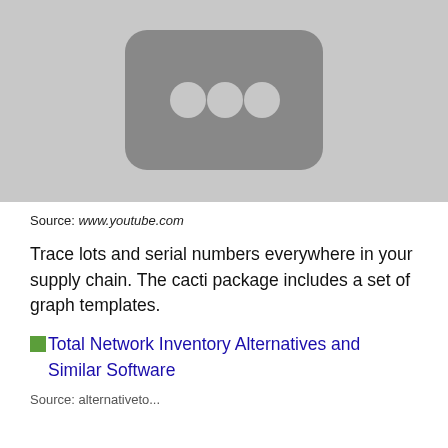[Figure (screenshot): A gray thumbnail image resembling a YouTube video placeholder. It shows a dark rounded rectangle with three circular dots in the center on a light gray background.]
Source: www.youtube.com
Trace lots and serial numbers everywhere in your supply chain. The cacti package includes a set of graph templates.
Total Network Inventory Alternatives and Similar Software
Source: alternativeto...